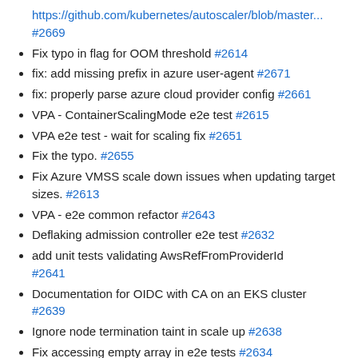https://github.com/kubernetes/autoscaler/blob/master... #2669
Fix typo in flag for OOM threshold #2614
fix: add missing prefix in azure user-agent #2671
fix: properly parse azure cloud provider config #2661
VPA - ContainerScalingMode e2e test #2615
VPA e2e test - wait for scaling fix #2651
Fix the typo. #2655
Fix Azure VMSS scale down issues when updating target sizes. #2613
VPA - e2e common refactor #2643
Deflaking admission controller e2e test #2632
add unit tests validating AwsRefFromProviderId #2641
Documentation for OIDC with CA on an EKS cluster #2639
Ignore node termination taint in scale up #2638
Fix accessing empty array in e2e tests #2634
Skip acceptable range check before it has data